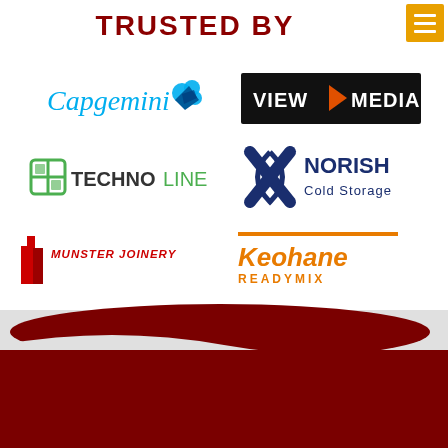TRUSTED BY
[Figure (logo): Capgemini logo - cyan/teal script text with blue diamond cloud icon]
[Figure (logo): VIEW MEDIA logo - black rectangle with white text and orange play triangle]
[Figure (logo): TECHNOLINE logo - green square grid icon with dark text]
[Figure (logo): NORISH Cold Storage logo - dark blue X/cross icon with dark blue text]
[Figure (logo): Munster Joinery logo - red icon with red bold text]
[Figure (logo): Keohane READYMIX logo - orange stylized text]
[Figure (illustration): Bottom section with dark red background, wave shape, and partial Skills globe/logo at bottom]